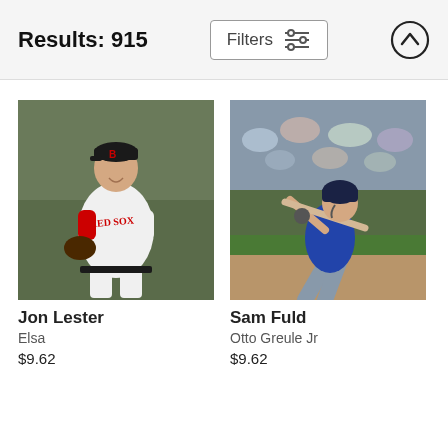Results: 915
[Figure (photo): Jon Lester in Boston Red Sox white uniform with baseball glove, posed portrait on field]
Jon Lester
Elsa
$9.62
[Figure (photo): Sam Fuld batting in navy blue uniform, mid-swing action shot with crowd in background]
Sam Fuld
Otto Greule Jr
$9.62